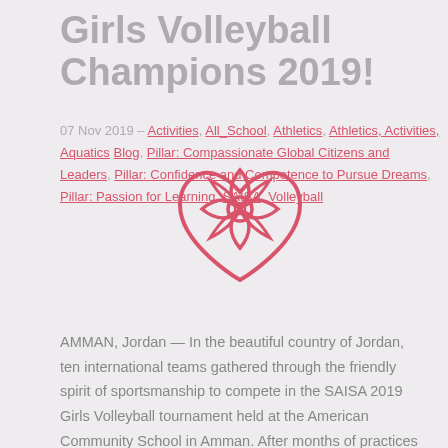Girls Volleyball Champions 2019!
07 Nov 2019 – Activities, All_School, Athletics, Athletics, Activities, Aquatics Blog, Pillar: Compassionate Global Citizens and Leaders, Pillar: Confidence and Competence to Pursue Dreams, Pillar: Passion for Learning, SAISA, Volleyball
[Figure (logo): Red outline logo of a stylized flower/rose inside a heart shape, with geometric petal pattern]
AMMAN, Jordan — In the beautiful country of Jordan, ten international teams gathered through the friendly spirit of sportsmanship to compete in the SAISA 2019 Girls Volleyball tournament held at the American Community School in Amman. After months of practices